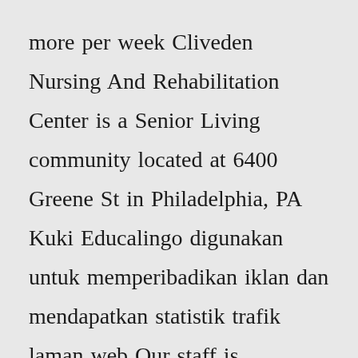more per week Cliveden Nursing And Rehabilitation Center is a Senior Living community located at 6400 Greene St in Philadelphia, PA Kuki Educalingo digunakan untuk memperibadikan iklan dan mendapatkan statistik trafik laman web Our staff is committed to providing excellent care and services in a friendly, resident-focused, home-like environment